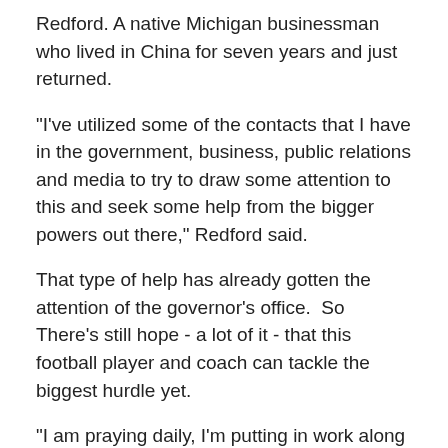Redford. A native Michigan businessman who lived in China for seven years and just returned.
"I've utilized some of the contacts that I have in the government, business, public relations and media to try to draw some attention to this and seek some help from the bigger powers out there," Redford said.
That type of help has already gotten the attention of the governor's office.  So There's still hope - a lot of it - that this football player and coach can tackle the biggest hurdle yet.
"I am praying daily, I'm putting in work along with Dan and a lot of other supporters," his mother said. "We have several friends in China who are working hard for him that love him."